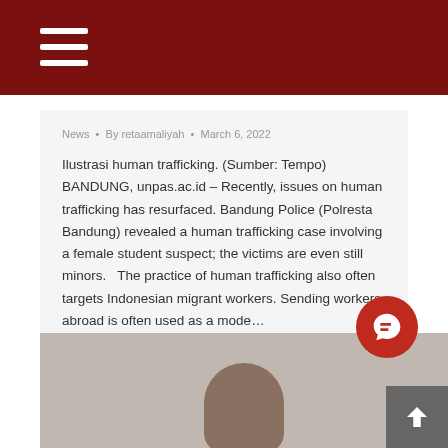News • By retaamaliyah • March 6, 2022
Ilustrasi human trafficking. (Sumber: Tempo) BANDUNG, unpas.ac.id – Recently, issues on human trafficking has resurfaced. Bandung Police (Polresta Bandung) revealed a human trafficking case involving a female student suspect; the victims are even still minors.   The practice of human trafficking also often targets Indonesian migrant workers. Sending workers abroad is often used as a mode...
[Figure (photo): Partial photo of a person's head/face at the bottom of the page]